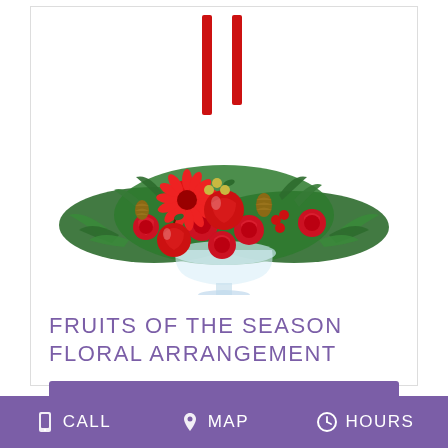[Figure (photo): A festive Christmas floral arrangement in a glass bowl featuring red roses, gerbera daisies, red candles, red apples, pine cones, and evergreen foliage.]
FRUITS OF THE SEASON FLORAL ARRANGEMENT
HOW TO ORDER
CALL   MAP   HOURS